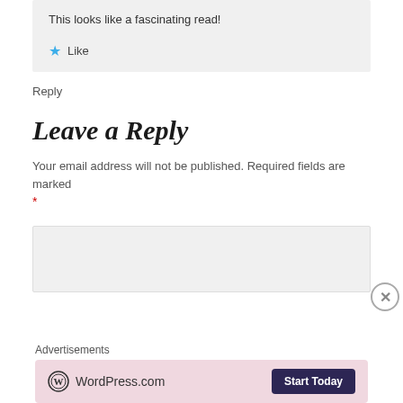This looks like a fascinating read!
Like
Reply
Leave a Reply
Your email address will not be published. Required fields are marked *
[Figure (screenshot): Comment text area input box (grey background)]
[Figure (infographic): Close/dismiss button circle with X]
Advertisements
[Figure (screenshot): WordPress.com advertisement banner with Start Today button]